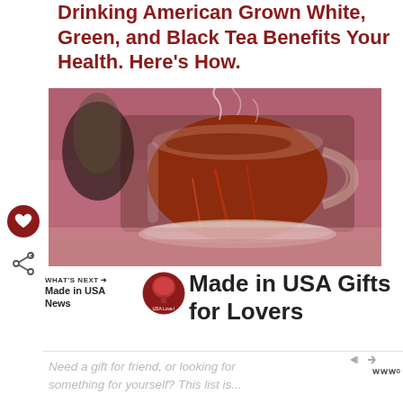Drinking American Grown White, Green, and Black Tea Benefits Your Health. Here's How.
[Figure (photo): A glass teacup filled with dark amber tea on a glass saucer, with steam rising from the top. A small cactus plant is visible in the background left. The scene is photographed on a pink/rose colored surface.]
[Figure (infographic): Advertisement banner: Made in USA Gifts for Lovers. Features a tree logo for USA Love List. Left side shows WHAT'S NEXT navigation label and 'Made in USA News' text.]
Need a gift for friend, or looking for something for yourself? This list is...